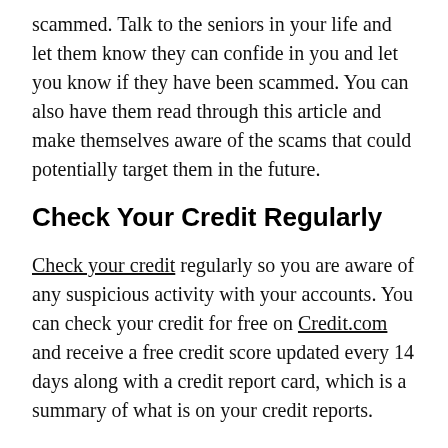scammed. Talk to the seniors in your life and let them know they can confide in you and let you know if they have been scammed. You can also have them read through this article and make themselves aware of the scams that could potentially target them in the future.
Check Your Credit Regularly
Check your credit regularly so you are aware of any suspicious activity with your accounts. You can check your credit for free on Credit.com and receive a free credit score updated every 14 days along with a credit report card, which is a summary of what is on your credit reports.
Get It Now
Privacy Policy
The post Financial Scams That Target the Elderly and